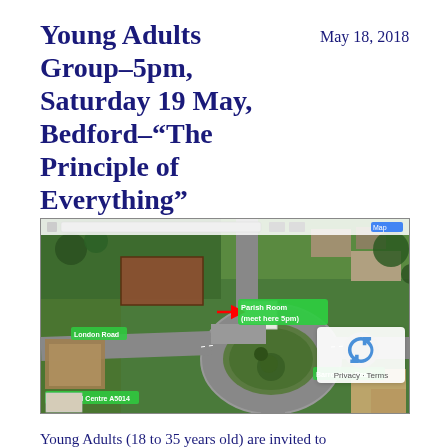Young Adults Group–5pm, Saturday 19 May, Bedford–“The Principle of Everything”
May 18, 2018
[Figure (map): Google Maps aerial/satellite view of a roundabout in Bedford, with a label 'Parish Room (meet here 5pm)' marked with a red arrow, and road labels including 'London Road' and 'Barrowden Road', and a label 'to Bedford Centre A5014' at the bottom left. A reCAPTCHA Privacy-Terms badge is visible at the bottom right.]
Young Adults (18 to 35 years old) are invited to